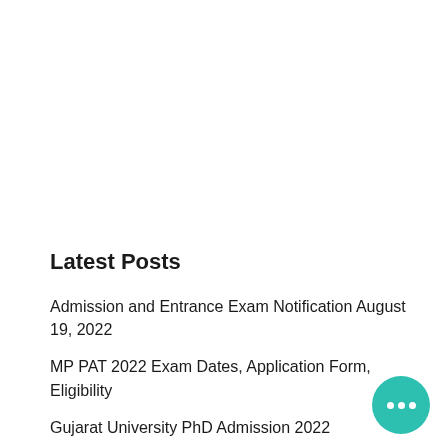Latest Posts
Admission and Entrance Exam Notification August 19, 2022
MP PAT 2022 Exam Dates, Application Form, Eligibility
Gujarat University PhD Admission 2022
An Alien Hand Summary Class 7, Explanation, Question Answers